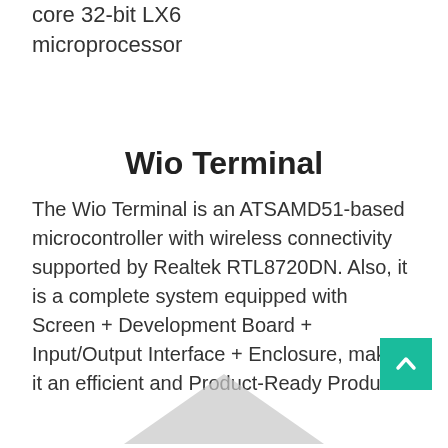core 32-bit LX6 microprocessor
Wio Terminal
The Wio Terminal is an ATSAMD51-based microcontroller with wireless connectivity supported by Realtek RTL8720DN. Also, it is a complete system equipped with Screen + Development Board + Input/Output Interface + Enclosure, making it an efficient and Product-Ready Product.
[Figure (illustration): Back-to-top button (teal square with upward chevron arrow)]
[Figure (illustration): Partial bottom graphic showing a grey arrow/chevron shape]